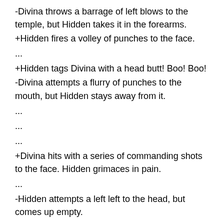-Divina throws a barrage of left blows to the temple, but Hidden takes it in the forearms.
+Hidden fires a volley of punches to the face.
...
+Hidden tags Divina with a head butt! Boo! Boo!
-Divina attempts a flurry of punches to the mouth, but Hidden stays away from it.
...
...
...
+Divina hits with a series of commanding shots to the face. Hidden grimaces in pain.
...
-Hidden attempts a left left to the head, but comes up empty.
...
+Hidden annoys Divina with a barrage of punches to the face.
+Divina lashes out with a furious hook to the chin. Hidden